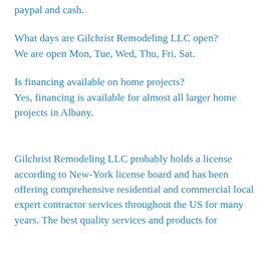paypal and cash.
What days are Gilchrist Remodeling LLC open?
We are open Mon, Tue, Wed, Thu, Fri, Sat.
Is financing available on home projects?
Yes, financing is available for almost all larger home projects in Albany.
Gilchrist Remodeling LLC probably holds a license according to New-York license board and has been offering comprehensive residential and commercial local expert contractor services throughout the US for many years. The best quality services and products for